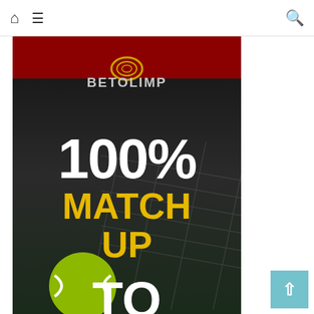Navigation bar with home icon, menu icon, and search icon
[Figure (infographic): BetOlimp promotional banner showing 100% Match Up To R1000 offer with tennis racket and ball background. Dark background with red top triangle. Logo at top with gold ring graphic. White bold '100%' text, gold bold 'MATCH UP' text, white 'TO' and 'R1000' text partially visible at bottom.]